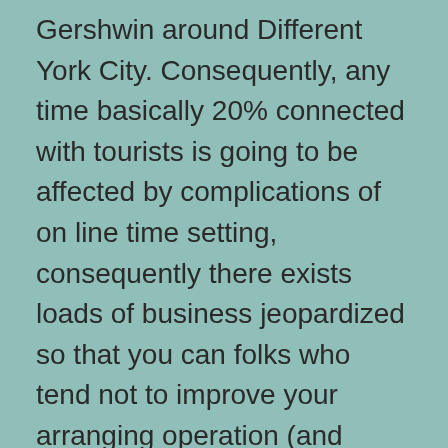Gershwin around Different York City. Consequently, any time basically 20% connected with tourists is going to be affected by complications of on line time setting, consequently there exists loads of business jeopardized so that you can folks who tend not to improve your arranging operation (and loads of prospect promotions . do).
Agents should certainly take advantage of reserved time slots along the busiest days. How come will likely be the following necessary for Travelocity's la ferme de soulan accomplishments? TripMaker might be Rand